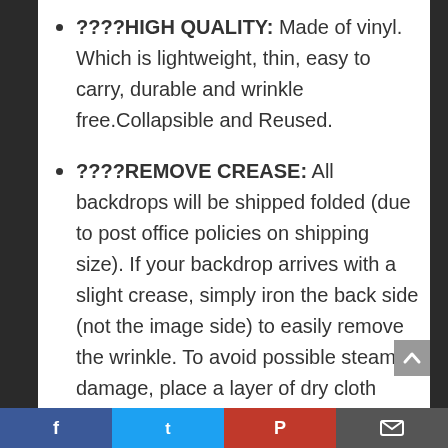????HIGH QUALITY: Made of vinyl. Which is lightweight, thin, easy to carry, durable and wrinkle free.Collapsible and Reused.
????REMOVE CREASE: All backdrops will be shipped folded (due to post office policies on shipping size). If your backdrop arrives with a slight crease, simply iron the back side (not the image side) to easily remove the wrinkle. To avoid possible steam damage, place a layer of dry cloth between the backdrop and the iron.
????SUITABLE FOR ALL OCCASIONS
Facebook Twitter Pinterest Email